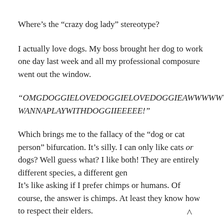Where’s the “crazydog lady” stereotype?
I actually love dogs. My boss brought her dog to work one day last week and all my professional composure went out the window.
“OMGDOGGIELOVEDOGGIELOVEDOGGIEAWWWWWWW! WANNAPLAYWITHDOGGIIEEEEE!”
Which brings me to the fallacy of the “dog or cat person” bifurcation. It’s silly. I can only like cats or dogs? Well guess what? I like both! They are entirely different species, a different gen It’s like asking if I prefer chimps or humans. Of course, the answer is chimps. At least they know how to respect their elders.
Then again I’m also neither Democrat nor Republican. I’m an